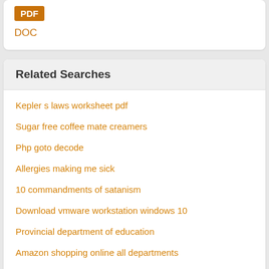PDF
DOC
Related Searches
Kepler s laws worksheet pdf
Sugar free coffee mate creamers
Php goto decode
Allergies making me sick
10 commandments of satanism
Download vmware workstation windows 10
Provincial department of education
Amazon shopping online all departments
David muir partner sean ashby